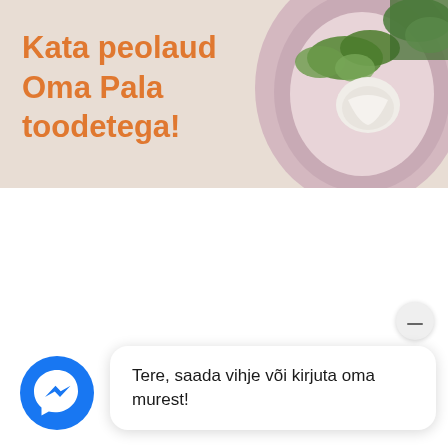[Figure (illustration): Banner with beige/tan background, orange bold text 'Kata peolaud Oma Pala toodetega!' on the left, and a decorative food photo (plate with salad/vegetables) on the right.]
Kata peolaud Oma Pala toodetega!
[Figure (screenshot): Facebook Messenger chat widget showing a blue circular Messenger logo icon on the left and a white rounded chat bubble on the right with text 'Tere, saada vihje või kirjuta oma murest!' and a minimize button (dash) in the top right corner of the bubble area.]
Tere, saada vihje või kirjuta oma murest!